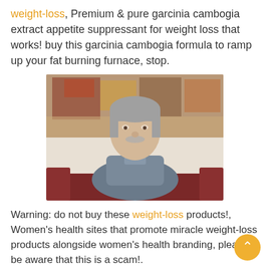weight-loss, Premium & pure garcinia cambogia extract appetite suppressant for weight loss that works! buy this garcinia cambogia formula to ramp up your fat burning furnace, stop.
[Figure (photo): Middle-aged man with gray hair and mustache, wearing a gray-blue jacket, seated in front of a dark red sofa and a colorful wall hanging.]
Warning: do not buy these weight-loss products!, Women's health sites that promote miracle weight-loss products alongside women's health branding, please be aware that this is a scam!. Green coffee supreme cleanse | green coffee detox formula!, Green coffee supreme cleanse – weight